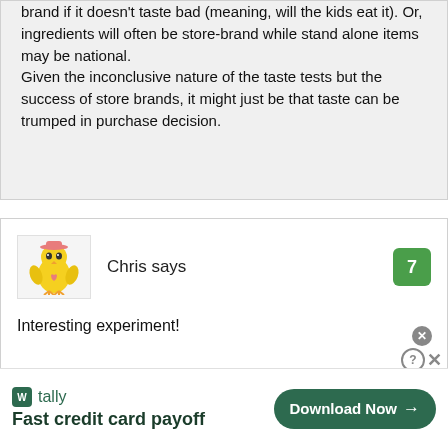brand if it doesn't taste bad (meaning, will the kids eat it). Or, ingredients will often be store-brand while stand alone items may be national. Given the inconclusive nature of the taste tests but the success of store brands, it might just be that taste can be trumped in purchase decision.
Chris says
Interesting experiment!
[Figure (illustration): Cartoon avatar of a yellow chick wearing a hat]
tally Fast credit card payoff Download Now